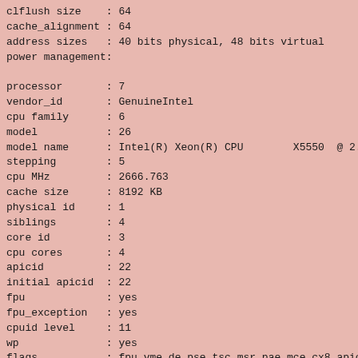clflush size   : 64
cache_alignment : 64
address sizes   : 40 bits physical, 48 bits virtual
power management:

processor       : 7
vendor_id       : GenuineIntel
cpu family      : 6
model           : 26
model name      : Intel(R) Xeon(R) CPU        X5550  @ 2.6
stepping        : 5
cpu MHz         : 2666.763
cache size      : 8192 KB
physical id     : 1
siblings        : 4
core id         : 3
cpu cores       : 4
apicid          : 22
initial apicid  : 22
fpu             : yes
fpu_exception   : yes
cpuid level     : 11
wp              : yes
flags           : fpu vme de pse tsc msr pae mce cx8 apic mtr
bogomips        : 5331.91
clflush size    : 64
cache_alignment : 64
address sizes   : 40 bits physical, 48 bits virtual
power management:


/proc/meminfo: